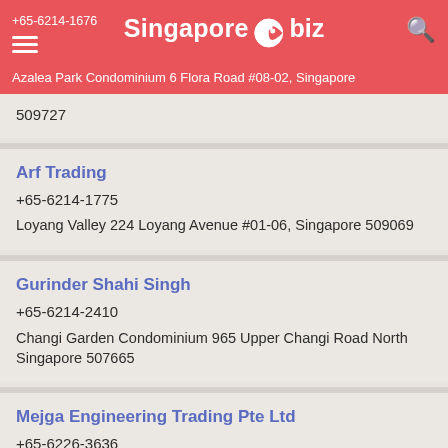Singapore.biz — +65-6214-1676 — Azalea Park Condominium 6 Flora Road #08-02, Singapore
509727
Arf Trading
+65-6214-1775
Loyang Valley 224 Loyang Avenue #01-06, Singapore 509069
Gurinder Shahi Singh
+65-6214-2410
Changi Garden Condominium 965 Upper Changi Road North Singapore 507665
Mejga Engineering Trading Pte Ltd
+65-6226-3636